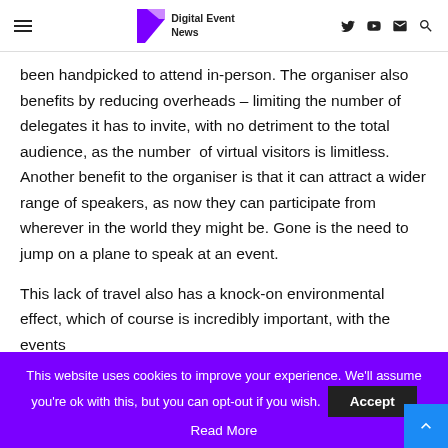Digital Event News
been handpicked to attend in-person. The organiser also benefits by reducing overheads – limiting the number of delegates it has to invite, with no detriment to the total audience, as the number of virtual visitors is limitless. Another benefit to the organiser is that it can attract a wider range of speakers, as now they can participate from wherever in the world they might be. Gone is the need to jump on a plane to speak at an event.
This lack of travel also has a knock-on environmental effect, which of course is incredibly important, with the events
This website uses cookies to improve your experience. We'll assume you're ok with this, but you can opt-out if you wish. Accept Read More